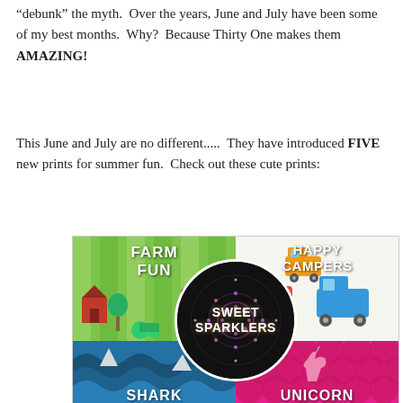'debunk' the myth. Over the years, June and July have been some of my best months. Why? Because Thirty One makes them AMAZING!
This June and July are no different..... They have introduced FIVE new prints for summer fun. Check out these cute prints:
[Figure (illustration): Collage of five Thirty One fabric prints: Farm Fun (green farm scene with barns and tractors), Happy Campers (white background with colorful vintage campers), Sweet Sparklers (dark circle with fireworks/sparkle pattern in center), Shark (blue ocean wave pattern with sharks), Unicorn (pink/magenta scale pattern with unicorns)]